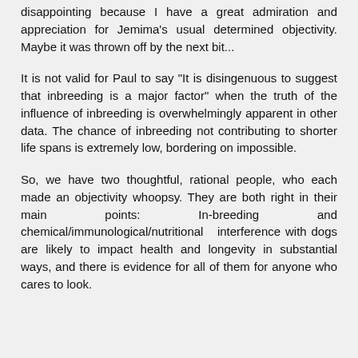disappointing because I have a great admiration and appreciation for Jemima's usual determined objectivity. Maybe it was thrown off by the next bit...
It is not valid for Paul to say "It is disingenuous to suggest that inbreeding is a major factor" when the truth of the influence of inbreeding is overwhelmingly apparent in other data. The chance of inbreeding not contributing to shorter life spans is extremely low, bordering on impossible.
So, we have two thoughtful, rational people, who each made an objectivity whoopsy. They are both right in their main points: In-breeding and chemical/immunological/nutritional interference with dogs are likely to impact health and longevity in substantial ways, and there is evidence for all of them for anyone who cares to look.